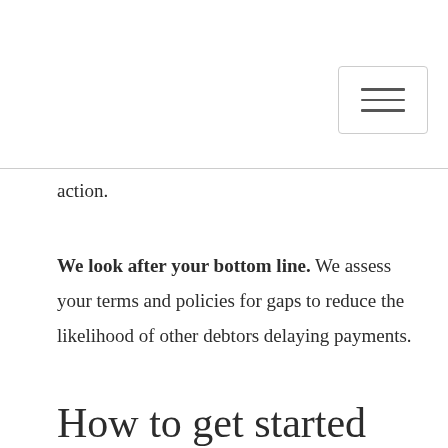action.
We look after your bottom line. We assess your terms and policies for gaps to reduce the likelihood of other debtors delaying payments.
How to get started